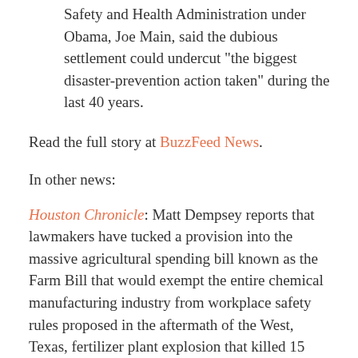Safety and Health Administration under Obama, Joe Main, said the dubious settlement could undercut “the biggest disaster-prevention action taken” during the last 40 years.
Read the full story at BuzzFeed News.
In other news:
Houston Chronicle: Matt Dempsey reports that lawmakers have tucked a provision into the massive agricultural spending bill known as the Farm Bill that would exempt the entire chemical manufacturing industry from workplace safety rules proposed in the aftermath of the West, Texas, fertilizer plant explosion that killed 15 people. The Department of Labor says the provision would create a broad exemption from OSHA standards for managing highly hazardous chemicals and could have the “unintended consequences” of letting large chemical facilities skirt the